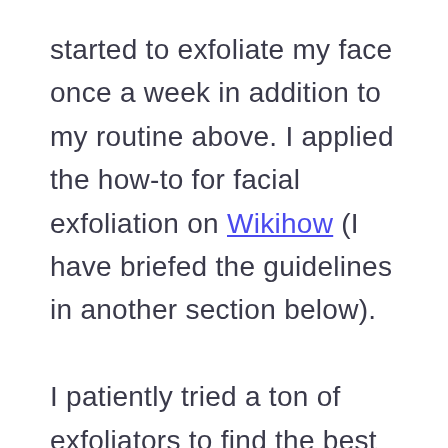started to exfoliate my face once a week in addition to my routine above. I applied the how-to for facial exfoliation on Wikihow (I have briefed the guidelines in another section below).

I patiently tried a ton of exfoliators to find the best one. Some were not effective at all. Also, there were some bringing outstanding visible results. However, my skin commenced reducing acne. Such a relief!